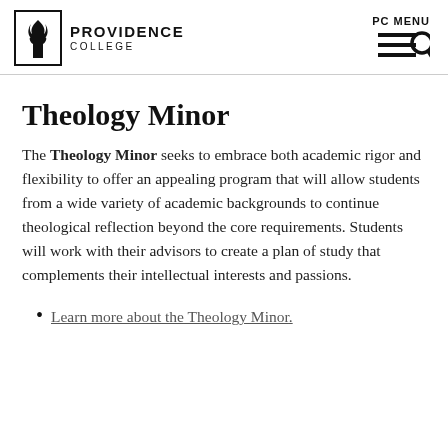PROVIDENCE COLLEGE | PC MENU
Theology Minor
The Theology Minor seeks to embrace both academic rigor and flexibility to offer an appealing program that will allow students from a wide variety of academic backgrounds to continue theological reflection beyond the core requirements. Students will work with their advisors to create a plan of study that complements their intellectual interests and passions.
Learn more about the Theology Minor.